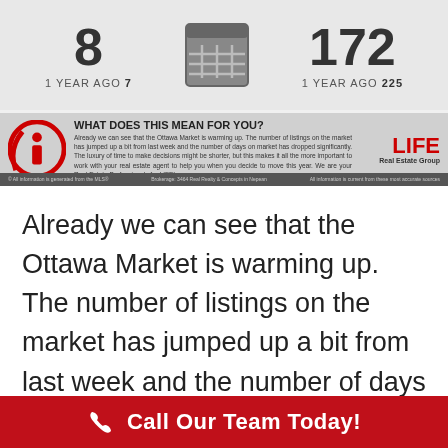[Figure (infographic): Top stats banner showing Days on Market: 8 (1 year ago 7) and a calendar icon and 172 (1 year ago 225)]
WHAT DOES THIS MEAN FOR YOU?
Already we can see that the Ottawa Market is warming up. The number of listings on the market has jumped up a bit from last week and the number of days on market has dropped significantly. The luxury of time to make decisions might be shorter, but this makes it all the more important to work with your real estate agent to help you when you decide to move this year. We are your Real Estate Professionals for LIFE!
[Figure (logo): LIFE Real Estate Group logo in red]
© All information is generated from the MLS®     Brokerage: 3464 Real Realty & Concepts in Nepean     All information is current from these most accurate sources
Already we can see that the Ottawa Market is warming up. The number of listings on the market has jumped up a bit from last week and the number of days on market has dropped significantly. The luxury of
Call Our Team Today!